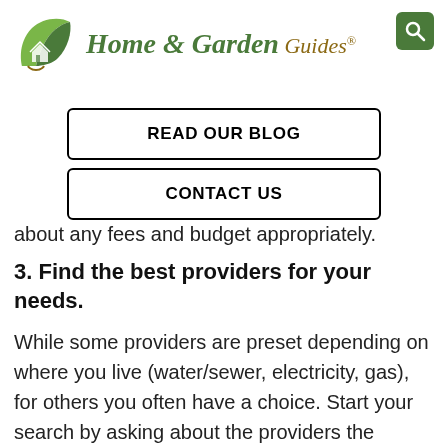[Figure (logo): Home & Garden Guides logo with leaf/house icon and search button]
READ OUR BLOG
CONTACT US
about any fees and budget appropriately.
3. Find the best providers for your needs.
While some providers are preset depending on where you live (water/sewer, electricity, gas), for others you often have a choice. Start your search by asking about the providers the previous owner used. For instance, if they used a cable provider, it will be more